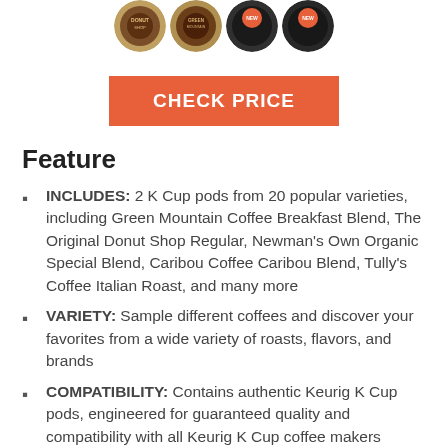[Figure (photo): Four K-Cup coffee pods shown from above, two brown/dark roast on left and two with red/orange lids on right]
CHECK PRICE
Feature
INCLUDES: 2 K Cup pods from 20 popular varieties, including Green Mountain Coffee Breakfast Blend, The Original Donut Shop Regular, Newman's Own Organic Special Blend, Caribou Coffee Caribou Blend, Tully's Coffee Italian Roast, and many more
VARIETY: Sample different coffees and discover your favorites from a wide variety of roasts, flavors, and brands
COMPATIBILITY: Contains authentic Keurig K Cup pods, engineered for guaranteed quality and compatibility with all Keurig K Cup coffee makers